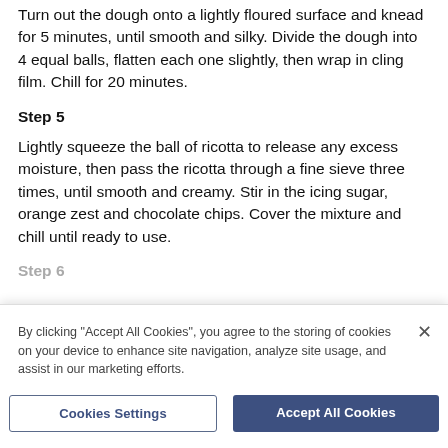Turn out the dough onto a lightly floured surface and knead for 5 minutes, until smooth and silky. Divide the dough into 4 equal balls, flatten each one slightly, then wrap in cling film. Chill for 20 minutes.
Step 5
Lightly squeeze the ball of ricotta to release any excess moisture, then pass the ricotta through a fine sieve three times, until smooth and creamy. Stir in the icing sugar, orange zest and chocolate chips. Cover the mixture and chill until ready to use.
Step 6
By clicking "Accept All Cookies", you agree to the storing of cookies on your device to enhance site navigation, analyze site usage, and assist in our marketing efforts.